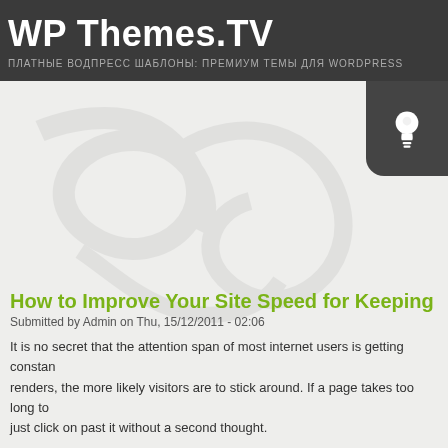WP Themes.TV
ПЛАТНЫЕ ВОДПРЕСС ШАБЛОНЫ: ПРЕМИУМ ТЕМЫ ДЛЯ WORDPRESS
[Figure (logo): Light bulb icon in dark rounded tab on top right of content area]
[Figure (illustration): Large watermark decorative swirl/curl design in light gray on the content background]
How to Improve Your Site Speed for Keeping
Submitted by Admin on Thu, 15/12/2011 - 02:06
It is no secret that the attention span of most internet users is getting constan renders, the more likely visitors are to stick around. If a page takes too long to just click on past it without a second thought.